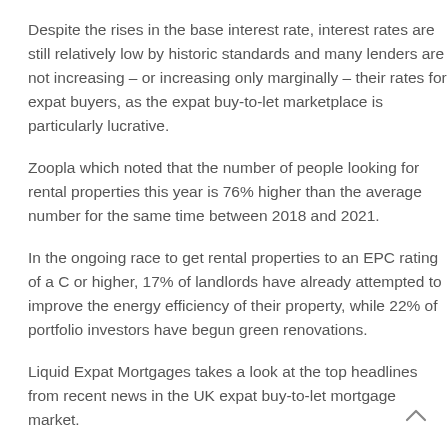Despite the rises in the base interest rate, interest rates are still relatively low by historic standards and many lenders are not increasing – or increasing only marginally – their rates for expat buyers, as the expat buy-to-let marketplace is particularly lucrative.
Zoopla which noted that the number of people looking for rental properties this year is 76% higher than the average number for the same time between 2018 and 2021.
In the ongoing race to get rental properties to an EPC rating of a C or higher, 17% of landlords have already attempted to improve the energy efficiency of their property, while 22% of portfolio investors have begun green renovations.
Liquid Expat Mortgages takes a look at the top headlines from recent news in the UK expat buy-to-let mortgage market.